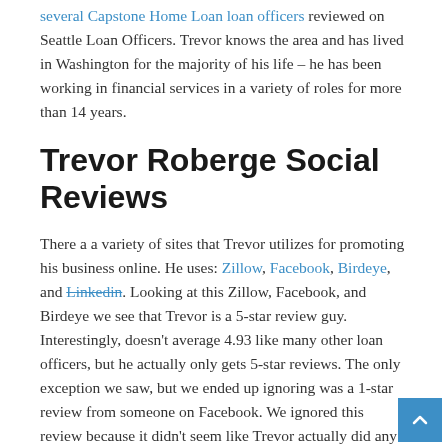several Capstone Home Loan loan officers reviewed on Seattle Loan Officers. Trevor knows the area and has lived in Washington for the majority of his life – he has been working in financial services in a variety of roles for more than 14 years.
Trevor Roberge Social Reviews
There a a variety of sites that Trevor utilizes for promoting his business online. He uses: Zillow, Facebook, Birdeye, and Linkedin. Looking at this Zillow, Facebook, and Birdeye we see that Trevor is a 5-star review guy. Interestingly, doesn't average 4.93 like many other loan officers, but he actually only gets 5-star reviews. The only exception we saw, but we ended up ignoring was a 1-star review from someone on Facebook. We ignored this review because it didn't seem like Trevor actually did any business with this person.
Unfortunately, Trevor doesn't respond to reviews on Zillow...